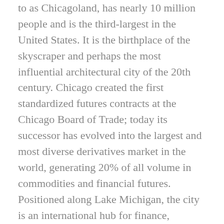to as Chicagoland, has nearly 10 million people and is the third-largest in the United States. It is the birthplace of the skyscraper and perhaps the most influential architectural city of the 20th century. Chicago created the first standardized futures contracts at the Chicago Board of Trade; today its successor has evolved into the largest and most diverse derivatives market in the world, generating 20% of all volume in commodities and financial futures. Positioned along Lake Michigan, the city is an international hub for finance, commerce, industry, technology, telecommunications, and transportation. O'Hare International Airport is the second-busiest airport in the world when measured by aircraft traffic after Hartsfield–Jackson Atlanta International Airport, and O'Hare briefly bested Atlanta as the world's busiest airport until losing the title back to Atlanta in 2014; the region also has the largest number of U.S. highways and railroad freight. In 2012, Chicago was listed as an alpha global city by the